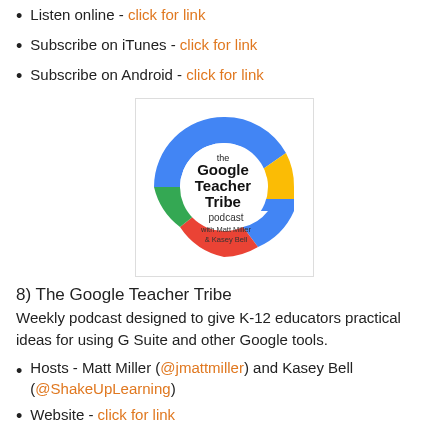Listen online - click for link
Subscribe on iTunes - click for link
Subscribe on Android - click for link
[Figure (logo): The Google Teacher Tribe podcast logo — a stylized G shape in Google colors (blue, red, yellow, green) with text inside reading 'the Google Teacher Tribe podcast with Matt Miller & Kasey Bell']
8) The Google Teacher Tribe
Weekly podcast designed to give K-12 educators practical ideas for using G Suite and other Google tools.
Hosts - Matt Miller (@jmattmiller) and Kasey Bell (@ShakeUpLearning)
Website - click for link